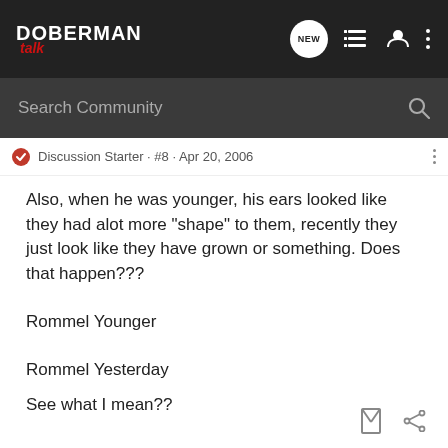DOBERMAN talk
Search Community
Discussion Starter · #8 · Apr 20, 2006
Also, when he was younger, his ears looked like they had alot more "shape" to them, recently they just look like they have grown or something. Does that happen???
Rommel Younger
Rommel Yesterday
See what I mean??